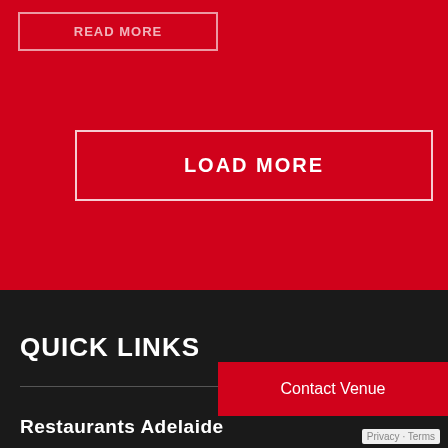READ MORE
LOAD MORE
QUICK LINKS
Contact Venue
Restaurants Adelaide
Privacy · Terms